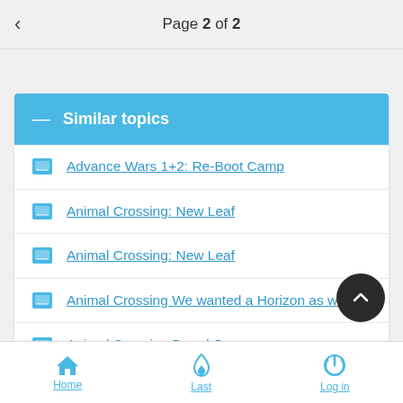Page 2 of 2
Similar topics
Advance Wars 1+2: Re-Boot Camp
Animal Crossing: New Leaf
Animal Crossing: New Leaf
Animal Crossing We wanted a Horizon as well
Animal Crossing Board Game
Home  Last  Log in